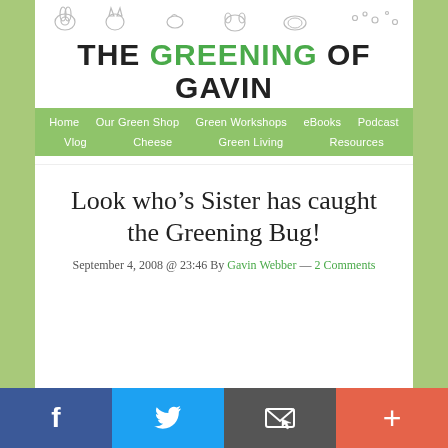[Figure (logo): Small animal/cartoon icons row across top of blog header]
THE GREENING OF GAVIN
Home | Our Green Shop | Green Workshops | eBooks | Podcast | Vlog | Cheese | Green Living | Resources
Look who's Sister has caught the Greening Bug!
September 4, 2008 @ 23:46 By Gavin Webber — 2 Comments
[Figure (infographic): Social sharing bar at bottom with Facebook, Twitter, email/share, and plus buttons]